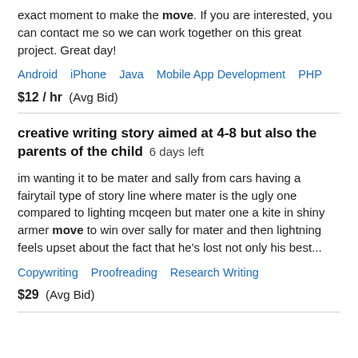exact moment to make the move. If you are interested, you can contact me so we can work together on this great project. Great day!
Android   iPhone   Java   Mobile App Development   PHP
$12 / hr  (Avg Bid)
creative writing story aimed at 4-8 but also the parents of the child  6 days left
im wanting it to be mater and sally from cars having a fairytail type of story line where mater is the ugly one compared to lighting mcqeen but mater one a kite in shiny armer move to win over sally for mater and then lightning feels upset about the fact that he's lost not only his best...
Copywriting   Proofreading   Research Writing
$29  (Avg Bid)